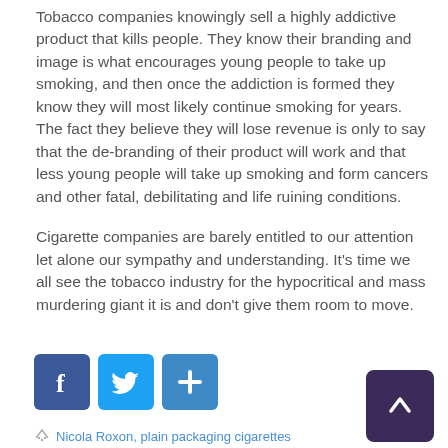Tobacco companies knowingly sell a highly addictive product that kills people. They know their branding and image is what encourages young people to take up smoking, and then once the addiction is formed they know they will most likely continue smoking for years. The fact they believe they will lose revenue is only to say that the de-branding of their product will work and that less young people will take up smoking and form cancers and other fatal, debilitating and life ruining conditions.
Cigarette companies are barely entitled to our attention let alone our sympathy and understanding. It's time we all see the tobacco industry for the hypocritical and mass murdering giant it is and don't give them room to move.
[Figure (other): Three social sharing buttons: Facebook (blue), Twitter (light blue), and a share/plus button (medium blue)]
[Figure (other): Scroll-to-top button: dark purple rounded square with upward chevron arrow]
Nicola Roxon, plain packaging cigarettes